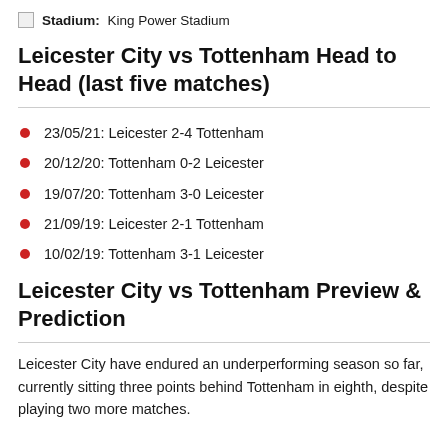🏟 Stadium: King Power Stadium
Leicester City vs Tottenham Head to Head (last five matches)
23/05/21: Leicester 2-4 Tottenham
20/12/20: Tottenham 0-2 Leicester
19/07/20: Tottenham 3-0 Leicester
21/09/19: Leicester 2-1 Tottenham
10/02/19: Tottenham 3-1 Leicester
Leicester City vs Tottenham Preview & Prediction
Leicester City have endured an underperforming season so far, currently sitting three points behind Tottenham in eighth, despite playing two more matches.